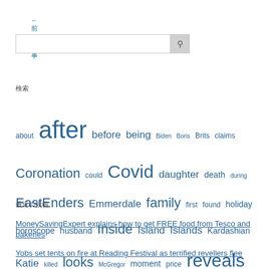← 前の記事
検索
about after before being Biden Boris Brits claims Coronation could Covid daughter death during EastEnders Emmerdale family first found holiday horoscope husband Inside Island Islands Kardashian Katie killed looks McGregor moment price reveals Ronaldo shares shows slams spoilers Street their transfer viewers Where woman years
最近の投稿
MoneySavingExpert explains how to get FREE food from Tesco and bakeries
Yobs set tents on fire at Reading Festival as terrified revellers flee